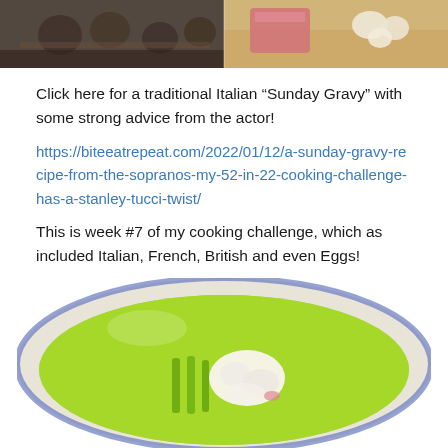[Figure (photo): Two side-by-side photos at the top: left shows people sitting at a table in a restaurant setting; right shows food ingredients including pink/red items and garlic on a wooden surface.]
Click here for a traditional Italian “Sunday Gravy” with some strong advice from the actor!
https://biteeatrepeat.com/2022/01/12/a-sunday-gravy-recipe-from-the-sopranos-my-52-in-22-cooking-challenge-has-a-stanley-tucci-twist/
This is week #7 of my cooking challenge, which as included Italian, French, British and even Eggs!
[Figure (photo): A white bowl with blue rim containing a vibrant bright green sauce or soup with asparagus and white chunky pieces (possibly fish or meat) arranged in the center.]